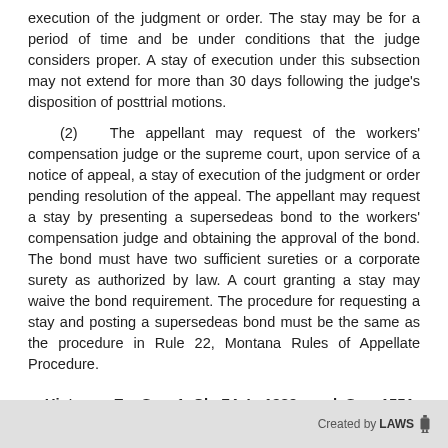execution of the judgment or order. The stay may be for a period of time and be under conditions that the judge considers proper. A stay of execution under this subsection may not extend for more than 30 days following the judge's disposition of posttrial motions.
(2)  The appellant may request of the workers' compensation judge or the supreme court, upon service of a notice of appeal, a stay of execution of the judgment or order pending resolution of the appeal. The appellant may request a stay by presenting a supersedeas bond to the workers' compensation judge and obtaining the approval of the bond. The bond must have two sufficient sureties or a corporate surety as authorized by law. A court granting a stay may waive the bond requirement. The procedure for requesting a stay and posting a supersedeas bond must be the same as the procedure in Rule 22, Montana Rules of Appellate Procedure.
History:  En. Sec. 1, Ch. 74, L. 1989; amd. Sec. 1551, Ch. 56, L. 2009.
Created by LAWS